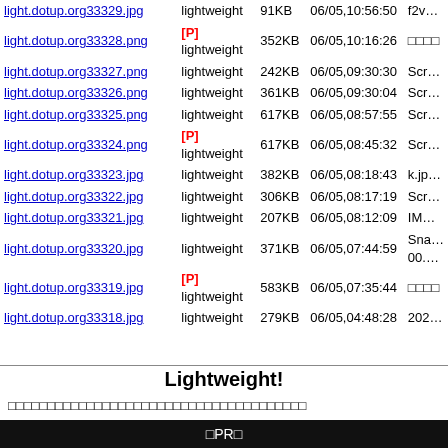| Link | Tag | Size | Date | Name |
| --- | --- | --- | --- | --- |
| light.dotup.org33329.jpg | lightweight | 91KB | 06/05,10:56:50 | f2v… |
| light.dotup.org33328.png | [P]
lightweight | 352KB | 06/05,10:16:26 | □□□□ |
| light.dotup.org33327.png | lightweight | 242KB | 06/05,09:30:30 | Scr… |
| light.dotup.org33326.png | lightweight | 361KB | 06/05,09:30:04 | Scr… |
| light.dotup.org33325.png | lightweight | 617KB | 06/05,08:57:55 | Scr… |
| light.dotup.org33324.png | [P]
lightweight | 617KB | 06/05,08:45:32 | Scr… |
| light.dotup.org33323.jpg | lightweight | 382KB | 06/05,08:18:43 | k.jp… |
| light.dotup.org33322.jpg | lightweight | 306KB | 06/05,08:17:19 | Scr… |
| light.dotup.org33321.jpg | lightweight | 207KB | 06/05,08:12:09 | IM… |
| light.dotup.org33320.jpg | lightweight | 371KB | 06/05,07:44:59 | Sna… 00.… |
| light.dotup.org33319.jpg | [P]
lightweight | 583KB | 06/05,07:35:44 | □□□□ |
| light.dotup.org33318.jpg | lightweight | 279KB | 06/05,04:48:28 | 202… |
Lightweight!
□□□□□□□□□□□□□□□□□□□□□□□□□□□□□□□□□□□□□□
□PR□